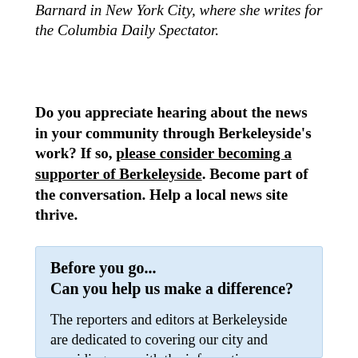Barnard in New York City, where she writes for the Columbia Daily Spectator.
Do you appreciate hearing about the news in your community through Berkeleyside's work? If so, please consider becoming a supporter of Berkeleyside. Become part of the conversation. Help a local news site thrive.
Before you go... Can you help us make a difference?
The reporters and editors at Berkeleyside are dedicated to covering our city and providing you with the information you need